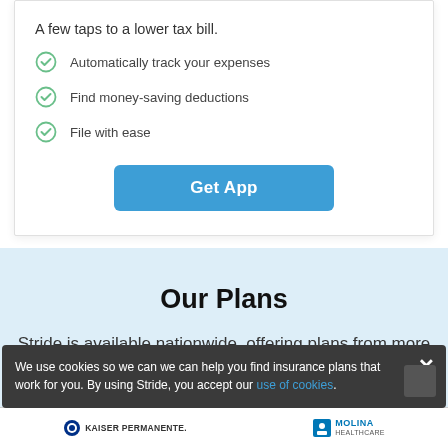A few taps to a lower tax bill.
Automatically track your expenses
Find money-saving deductions
File with ease
Get App
Our Plans
Stride is available nationwide, offering plans from more
We use cookies so we can we can help you find insurance plans that work for you. By using Stride, you accept our use of cookies.
[Figure (logo): Kaiser Permanente logo]
[Figure (logo): Molina Healthcare logo]